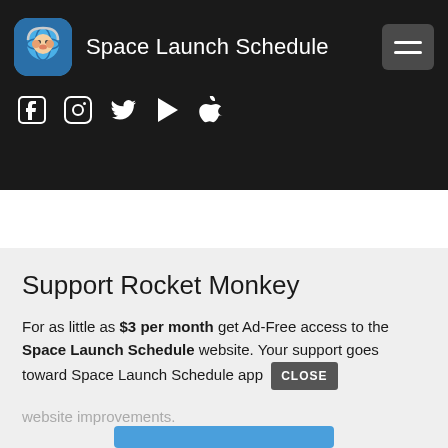Space Launch Schedule
[Figure (screenshot): Social media icons: Facebook, Instagram, Twitter, Google Play, Apple]
Support Rocket Monkey
For as little as $3 per month get Ad-Free access to the Space Launch Schedule website. Your support goes toward Space Launch Schedule app and website improvements.